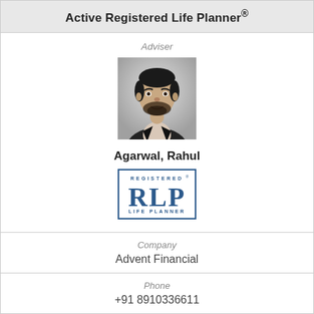Active Registered Life Planner®
Adviser
[Figure (photo): Professional headshot of Rahul Agarwal, a man in a dark suit with a beard and short dark hair, against a light background.]
Agarwal, Rahul
[Figure (logo): Registered Life Planner (RLP) badge/logo with blue border, showing 'REGISTERED' at top, large 'RLP' letters in the center, and 'LIFE PLANNER' at the bottom.]
Company
Advent Financial
Phone
+91 8910336611
City